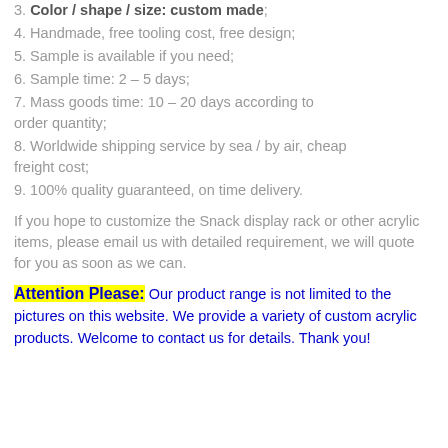3. Color / shape / size: custom made;
4. Handmade, free tooling cost, free design;
5. Sample is available if you need;
6. Sample time: 2 – 5 days;
7. Mass goods time: 10 – 20 days according to order quantity;
8. Worldwide shipping service by sea / by air, cheap freight cost;
9. 100% quality guaranteed, on time delivery.
If you hope to customize the Snack display rack or other acrylic items, please email us with detailed requirement, we will quote for you as soon as we can.
Attention Please: Our product range is not limited to the pictures on this website. We provide a variety of custom acrylic products. Welcome to contact us for details. Thank you!